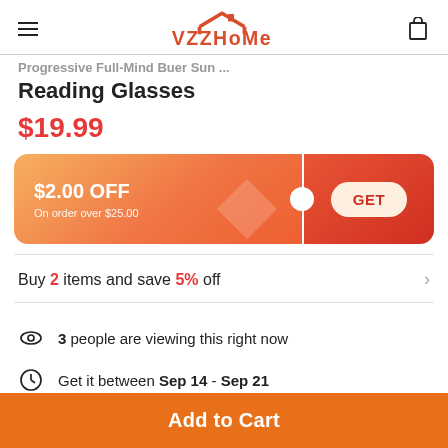VZZHoMe
Reading Glasses
$19.99
[Figure (infographic): Coupon banner: $2.00 OFF on order over $25.00 with a GET button]
Buy 2 items and save 5% off
3 people are viewing this right now
Get it between Sep 14 - Sep 21
Add to Cart